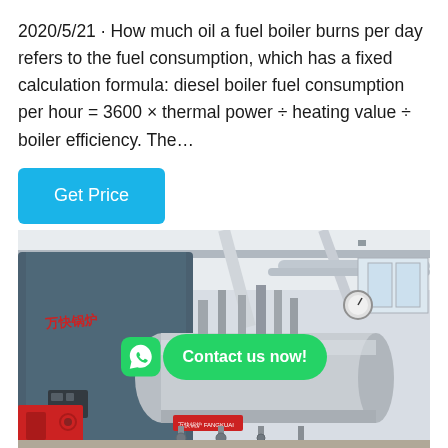2020/5/21 · How much oil a fuel boiler burns per day refers to the fuel consumption, which has a fixed calculation formula: diesel boiler fuel consumption per hour = 3600 × thermal power ÷ heating value ÷ boiler efficiency. The…
[Figure (other): Button labeled 'Get Price' with cyan/blue background]
[Figure (photo): Industrial fuel boiler in a factory setting, showing a large cylindrical steel boiler with piping, gauges, and control equipment. A green WhatsApp icon and 'Contact us now!' bubble overlay is shown on the image.]